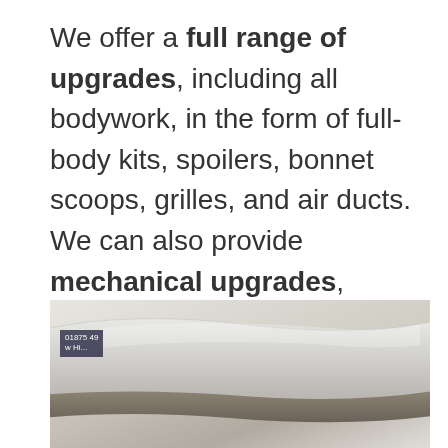We offer a full range of upgrades, including all bodywork, in the form of full-body kits, spoilers, bonnet scoops, grilles, and air ducts. We can also provide mechanical upgrades, although we recommend getting in touch to discuss your requirements so we can order the relevant pieces in advance.
[Figure (photo): Close-up photo of a car spoiler or bodywork panel, white/silver coloured vehicle part. A dark sign with phone number partially visible in the upper left area.]